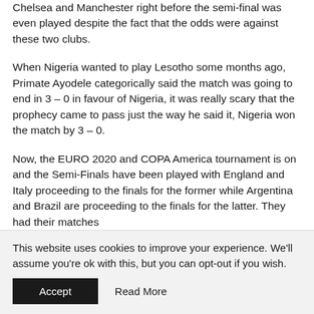Where he predicted that the Final will be between Chelsea and Manchester right before the semi-final was even played despite the fact that the odds were against these two clubs.
When Nigeria wanted to play Lesotho some months ago, Primate Ayodele categorically said the match was going to end in 3 – 0 in favour of Nigeria, it was really scary that the prophecy came to pass just the way he said it, Nigeria won the match by 3 – 0.
Now, the EURO 2020 and COPA America tournament is on and the Semi-Finals have been played with England and Italy proceeding to the finals for the former while Argentina and Brazil are proceeding to the finals for the latter. They had their matches
This website uses cookies to improve your experience. We'll assume you're ok with this, but you can opt-out if you wish.